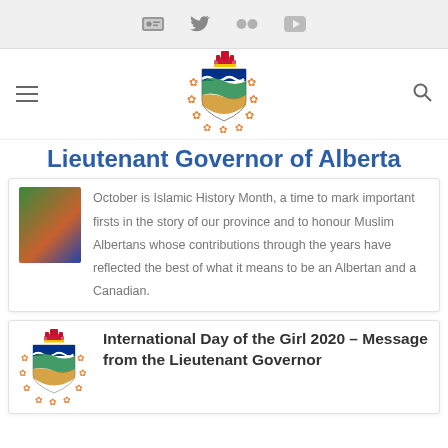Social media icons bar (contact card, Twitter, Flickr, YouTube)
[Figure (logo): Alberta Lieutenant Governor coat of arms crest with crown and maple leaves]
Lieutenant Governor of Alberta
October is Islamic History Month, a time to mark important firsts in the story of our province and to honour Muslim Albertans whose contributions through the years have reflected the best of what it means to be an Albertan and a Canadian.
International Day of the Girl 2020 – Message from the Lieutenant Governor